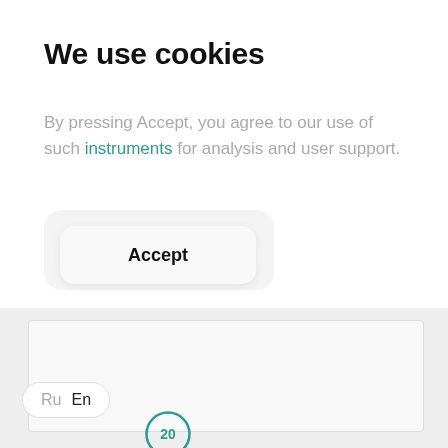We use cookies
By pressing Accept, you agree to our use of such instruments for analysis and user support.
Accept
Ru  En
20